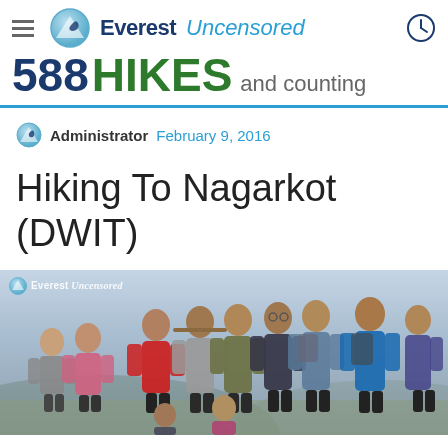Everest Uncensored — 588 HIKES and counting
Administrator   February 9, 2016
Hiking To Nagarkot (DWIT)
[Figure (photo): Group of young people posing outdoors on a hilltop with hazy mountain backdrop; photo watermarked with Everest Uncensored logo]